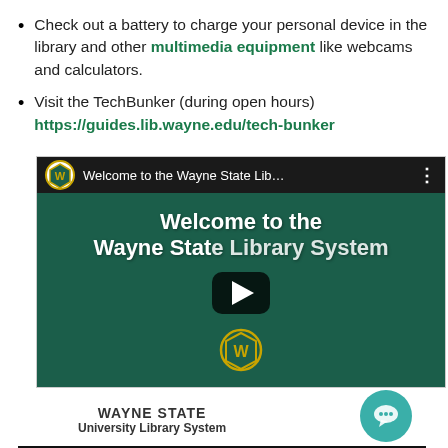Check out a battery to charge your personal device in the library and other multimedia equipment like webcams and calculators.
Visit the TechBunker (during open hours) https://guides.lib.wayne.edu/tech-bunker
[Figure (screenshot): Embedded YouTube video thumbnail showing 'Welcome to the Wayne State Library System' with WSU logo and play button. Below the video is the Wayne State University Library System text logo and a chat button.]